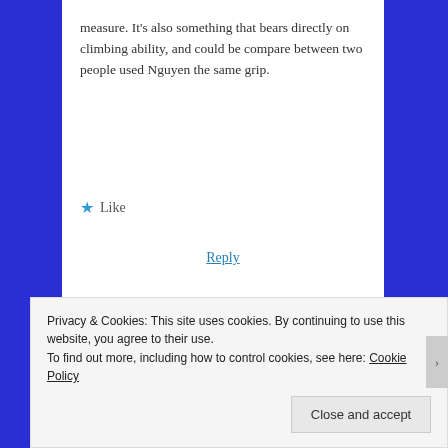measure. It's also something that bears directly on climbing ability, and could be compare between two people used Nguyen the same grip.
★ Like
Reply
Advertisements
[Figure (screenshot): Dark advertisement banner for WordPress online course platform. Shows circular logo with bonsai tree, green text 'Launch your online course with WordPress', and white 'Learn More' button with underline.]
REPORT THIS AD
Privacy & Cookies: This site uses cookies. By continuing to use this website, you agree to their use.
To find out more, including how to control cookies, see here: Cookie Policy
Close and accept